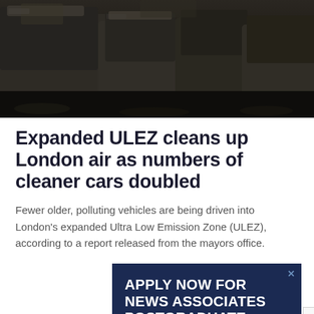[Figure (photo): Dark photograph of cars in traffic, viewed from above/behind, in low light conditions resembling a city street]
Expanded ULEZ cleans up London air as numbers of cleaner cars doubled
Fewer older, polluting vehicles are being driven into London's expanded Ultra Low Emission Zone (ULEZ), according to a report released from the mayors office.
[Figure (other): Advertisement for News Associates Postgraduate Journalism Courses with dark blue background. Text reads: APPLY NOW FOR NEWS ASSOCIATES POSTGRADUATE JOURNALISM COURSES OFFICIALLY THE UK'S. Has a close button (X) in top right corner and a reCAPTCHA badge on the right side.]